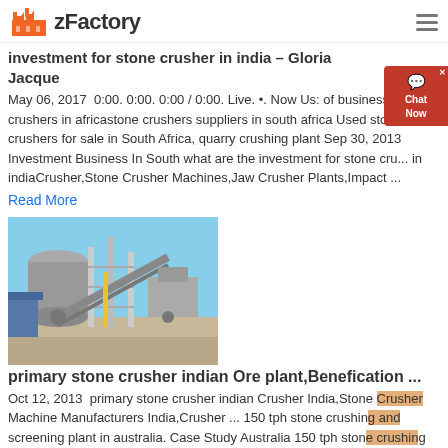zFactory
investment for stone crusher in india – Gloria Jacque
May 06, 2017  0:00. 0:00. 0:00 / 0:00. Live. •. Now Us: of business of stone crushers in africastone crushers suppliers in south africa Used stone crushers for sale in South Africa, quarry crushing plant Sep 30, 2013 Investment Business In South what are the investment for stone cru... in indiaCrusher,Stone Crusher Machines,Jaw Crusher Plants,Impact ...
Read More
[Figure (photo): Industrial stone crusher plant machinery with conveyor belts and equipment at a construction/mining site]
primary stone crusher indian Ore plant,Benefication ...
Oct 12, 2013  primary stone crusher indian Crusher India,Stone Crusher Machine Manufacturers India,Crusher ... 150 tph stone crushing and screening plant in australia. Case Study Australia 150 tph stone crushing and screening plant Raw Material: limestone Feed Size:500-600mm ...